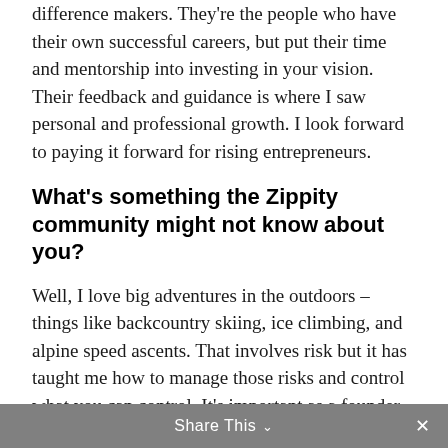difference makers. They're the people who have their own successful careers, but put their time and mentorship into investing in your vision. Their feedback and guidance is where I saw personal and professional growth. I look forward to paying it forward for rising entrepreneurs.
What's something the Zippity community might not know about you?
Well, I love big adventures in the outdoors – things like backcountry skiing, ice climbing, and alpine speed ascents. That involves risk but it has taught me how to manage those risks and control what you can control. It's important as a founder to let go of the things that can potentially overwhelm or distract you and instead focus on the things you can successfully achieve immediately. Limiting unhealthy distractions helps you succeed in dangerous environments in the backcountry – and in the start-up world.
Share This ∨  ×